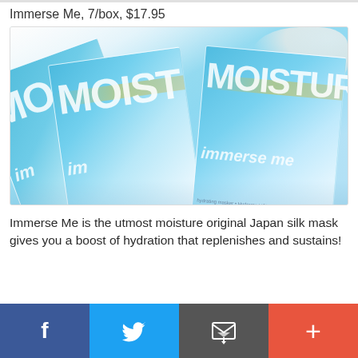Immerse Me, 7/box, $17.95
[Figure (photo): Photo of Immerse Me moisture face mask packets (7/box, $17.95) fanned out on a light surface with a cotton flower in the background. Packets are white and light blue with 'MOISTURE' and 'immerse me' text.]
Immerse Me is the utmost moisture original Japan silk mask gives you a boost of hydration that replenishes and sustains!